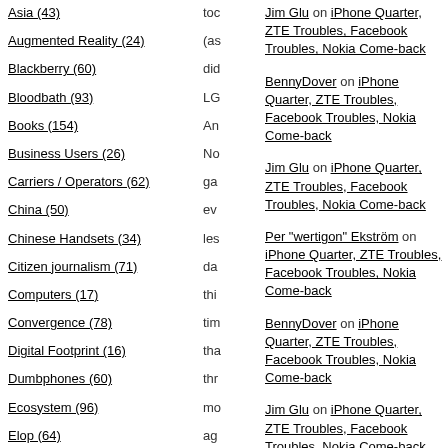Asia (43)
Augmented Reality (24)
Blackberry (60)
Bloodbath (93)
Books (154)
Business Users (26)
Carriers / Operators (62)
China (50)
Chinese Handsets (34)
Citizen journalism (71)
Computers (17)
Convergence (78)
Digital Footprint (16)
Dumbphones (60)
Ecosystem (96)
Elop (64)
Emerging World (68)
Engagement marketing (428)
toc
(as
did
LG
An
No
ga
ev
les
da
thi
tim
tha
thr
mo
ag
in
Q4
Jim Glu on iPhone Quarter, ZTE Troubles, Facebook Troubles, Nokia Come-back
BennyDover on iPhone Quarter, ZTE Troubles, Facebook Troubles, Nokia Come-back
Jim Glu on iPhone Quarter, ZTE Troubles, Facebook Troubles, Nokia Come-back
Per "wertigon" Ekström on iPhone Quarter, ZTE Troubles, Facebook Troubles, Nokia Come-back
BennyDover on iPhone Quarter, ZTE Troubles, Facebook Troubles, Nokia Come-back
Jim Glu on iPhone Quarter, ZTE Troubles, Facebook Troubles, Nokia Come-back
GOOGLE SEARCH
[Figure (logo): Google logo in multicolor text with trademark symbol]